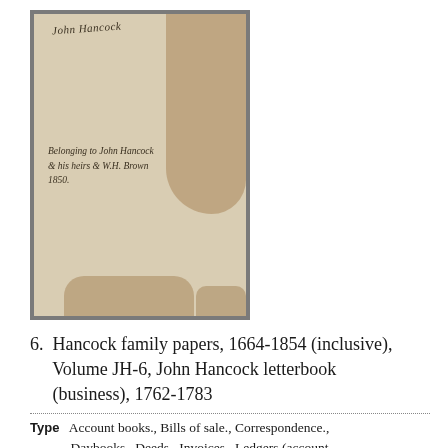[Figure (photo): Photograph of an aged, stained manuscript or letterbook cover with handwritten cursive text at top reading 'John Hancock' and additional handwritten inscriptions in the lower portion. The document shows heavy brown staining on the right side and bottom.]
6.  Hancock family papers, 1664-1854 (inclusive), Volume JH-6, John Hancock letterbook (business), 1762-1783
Type   Account books., Bills of sale., Correspondence., Daybooks., Deeds., Invoices., Ledgers (account